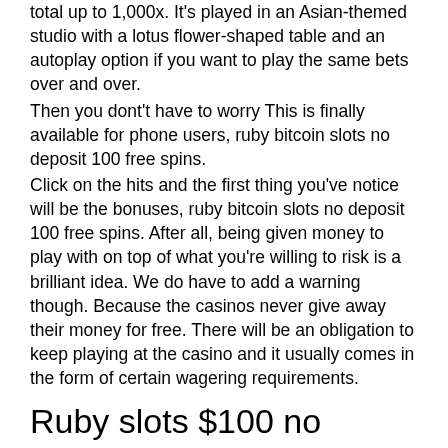total up to 1,000x. It's played in an Asian-themed studio with a lotus flower-shaped table and an autoplay option if you want to play the same bets over and over. Then you dont't have to worry This is finally available for phone users, ruby bitcoin slots no deposit 100 free spins. Click on the hits and the first thing you've notice will be the bonuses, ruby bitcoin slots no deposit 100 free spins. After all, being given money to play with on top of what you're willing to risk is a brilliant idea. We do have to add a warning though. Because the casinos never give away their money for free. There will be an obligation to keep playing at the casino and it usually comes in the form of certain wagering requirements.
Ruby slots $100 no deposit bonus codes 2020